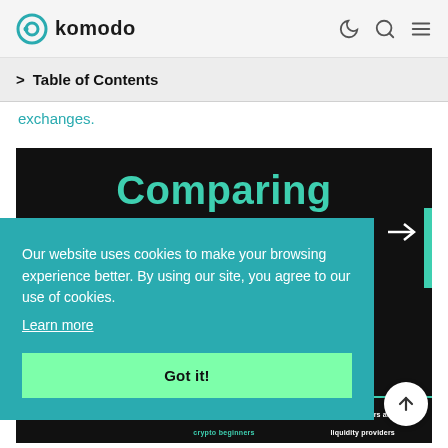komodo
> Table of Contents
exchanges.
[Figure (screenshot): Dark background image with 'Comparing' text in teal/green color, and bottom labels including POPULARITY, 'especially for crypto beginners', 'among traders and liquidity providers']
Our website uses cookies to make your browsing experience better. By using our site, you agree to our use of cookies.
Learn more
Got it!